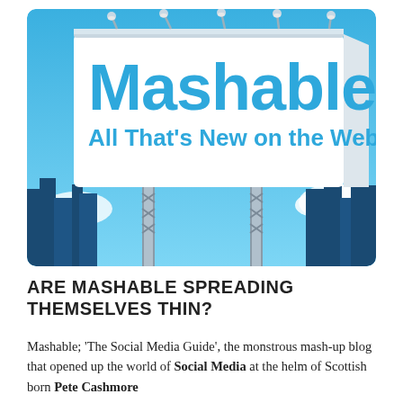[Figure (illustration): Illustrated billboard with blue sky background showing 'Mashable - All That's New on the Web' text on a white billboard supported by metal truss towers, with a stylized city skyline silhouette in dark blue at the bottom and white clouds.]
ARE MASHABLE SPREADING THEMSELVES THIN?
Mashable; 'The Social Media Guide', the monstrous mash-up blog that opened up the world of Social Media at the helm of Scottish born Pete Cashmore